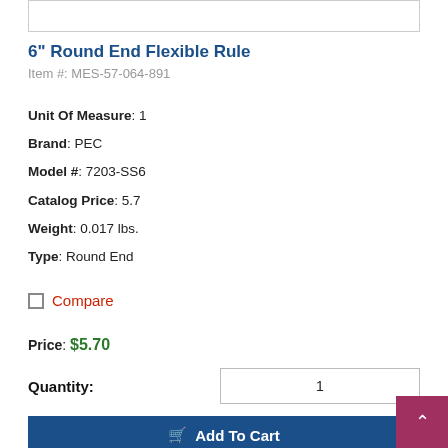[Figure (other): Product image box (top, partially visible)]
6" Round End Flexible Rule
Item #: MES-57-064-891
Unit Of Measure: 1
Brand: PEC
Model #: 7203-SS6
Catalog Price: 5.7
Weight: 0.017 lbs.
Type: Round End
Compare
Price: $5.70
Quantity: 1
Add To Cart
Add To List